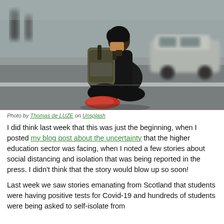[Figure (photo): A person wearing a face mask and carrying a large backpack sits on a curb or street edge. The photo is taken from behind/side angle. Background shows blurred traffic and pedestrians in an urban street setting. Muted grey tones.]
Photo by Thomas de LUZE on Unsplash
I did think last week that this was just the beginning, when I posted my blog post about the uncertainty that the higher education sector was facing, when I noted a few stories about social distancing and isolation that was being reported in the press. I didn't think that the story would blow up so soon!
Last week we saw stories emanating from Scotland that students were having positive tests for Covid-19 and hundreds of students were being asked to self-isolate from